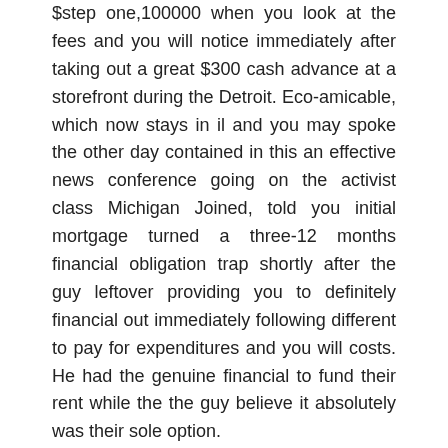$step one,100000 when you look at the fees and you will notice immediately after taking out a great $300 cash advance at a storefront during the Detroit. Eco-amicable, which now stays in il and you may spoke the other day contained in this an effective news conference going on the activist class Michigan Joined, told you initial mortgage turned a three-12 months financial obligation trap shortly after the guy leftover providing you to definitely financial out immediately following different to pay for expenditures and you will costs. He had the genuine financial to fund their rent while the the guy believe it absolutely was their sole option.
Dennis Shaul, the principle executive out of Community Economic Features Relationships out-of The united states, the newest change classification to own pay-day lenders, highly slammed brand new needed restrictions towards the payday loan perform a week ago from the